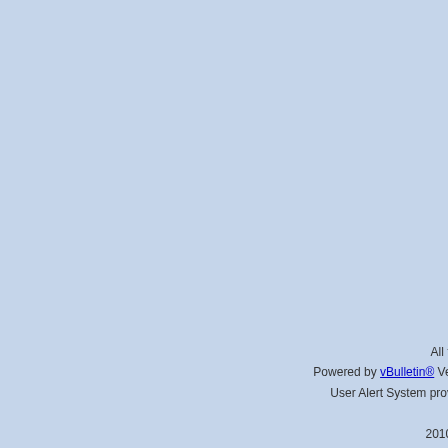"Beyond" - 5th job second skill set
[KMS]Inkwell Diary # 72 - Night Walker skill preview
GMS Server Status Discussion
Beast Tamer discussion thread
MapleStory Calendar Thread (Image Heavy) [Jan. 2011]
All times are GMT -5. The time now is 09:4
Powered by vBulletin® Version 4.1.1 Copyright © 2022 vBulletin Solutions, Inc. All righ
User Alert System provided by Advanced User Tagging v3.1.3 (Lite) - vBulletin M Technologies Ltd. 2010, 2011, 2012, 2013, 2014 @ Eosian Ent